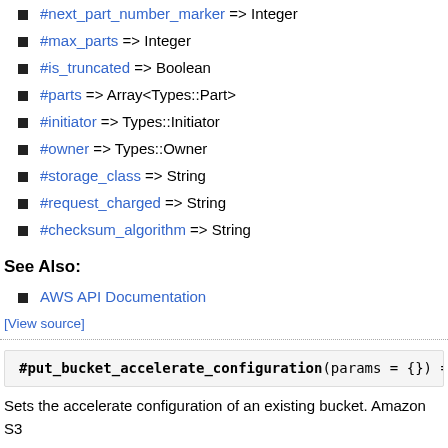#next_part_number_marker => Integer
#max_parts => Integer
#is_truncated => Boolean
#parts => Array<Types::Part>
#initiator => Types::Initiator
#owner => Types::Owner
#storage_class => String
#request_charged => String
#checksum_algorithm => String
See Also:
AWS API Documentation
[View source]
#put_bucket_accelerate_configuration(params = {}) =
Sets the accelerate configuration of an existing bucket. Amazon S3